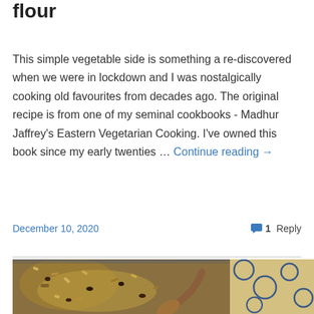flour
This simple vegetable side is something a re-discovered when we were in lockdown and I was nostalgically cooking old favourites from decades ago. The original recipe is from one of my seminal cookbooks - Madhur Jaffrey's Eastern Vegetarian Cooking. I've owned this book since my early twenties … Continue reading →
December 10, 2020    1 Reply
[Figure (photo): A pan with a mixed grain/nut mixture being stirred with a wooden spoon, on a patterned blue and yellow surface.]